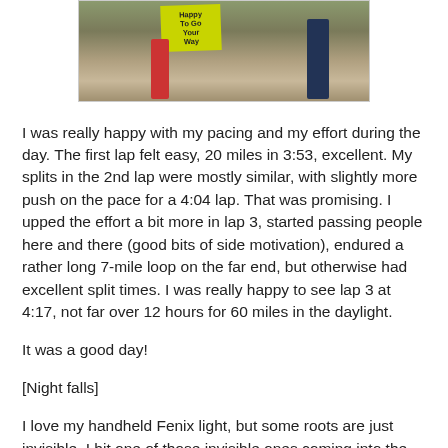[Figure (photo): Partial photo of a person holding a yellow sign at a trail race, with another person visible in the background. Outdoor setting with dirt ground and trees.]
I was really happy with my pacing and my effort during the day.  The first lap felt easy, 20 miles in 3:53, excellent.  My splits in the 2nd lap were mostly similar, with slightly more push on the pace for a 4:04 lap.  That was promising.  I upped the effort a bit more in lap 3, started passing people here and there (good bits of side motivation), endured a rather long 7-mile loop on the far end, but otherwise had excellent split times.  I was really happy to see lap 3 at 4:17, not far over 12 hours for 60 miles in the daylight.
It was a good day!
[Night falls]
I love my handheld Fenix light, but some roots are just invisible.  I hit one of those invisible ones coming into the Dam aid station and fell hard enough that someone came